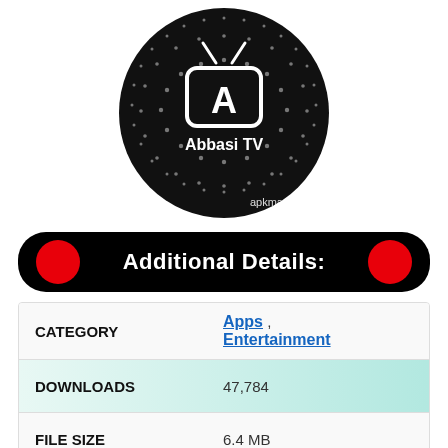[Figure (logo): Abbasi TV app logo: black circular background with dotted spiral pattern, TV icon with antenna and letter A inside, text 'Abbasi TV' below, watermark 'apkmart.net' at bottom right]
Additional Details:
| CATEGORY | Apps , Entertainment |
| DOWNLOADS | 47,784 |
| FILE SIZE | 6.4 MB |